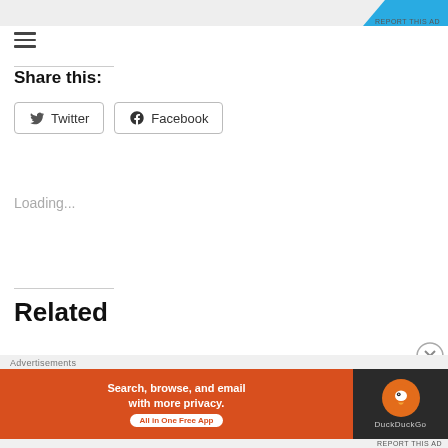[Figure (screenshot): Top advertisement banner with blue corner and 'REPORT THIS AD' label]
[Figure (other): Hamburger menu icon (three horizontal lines)]
Share this:
[Figure (screenshot): Twitter share button with Twitter bird icon]
[Figure (screenshot): Facebook share button with Facebook logo icon]
Loading...
Related
Slow cooker Greek style
Slow Cooker Beef and
[Figure (screenshot): DuckDuckGo advertisement banner: 'Search, browse, and email with more privacy. All in One Free App' with DuckDuckGo logo on dark background]